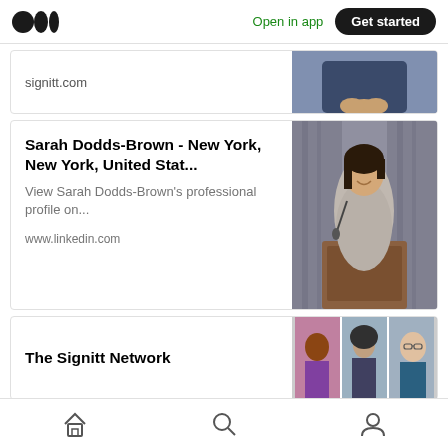Open in app | Get started
signitt.com
Sarah Dodds-Brown - New York, New York, United Stat...
View Sarah Dodds-Brown's professional profile on...
www.linkedin.com
The Signitt Network
Home | Search | Profile